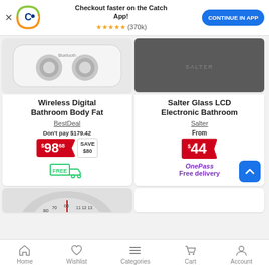[Figure (screenshot): App banner with Catch.com.au logo, app promotion text, star rating, and continue button]
Checkout faster on the Catch App!
★★★★★ (370k)
CONTINUE IN APP
[Figure (photo): Wireless Digital Bathroom Body Fat scale product image - white scale with two circular dials]
Wireless Digital Bathroom Body Fat
BestDeal
Don't pay $179.42
$98.68 SAVE $80
[Figure (infographic): Free delivery truck icon with FREE label in green]
[Figure (photo): Salter Glass LCD Electronic Bathroom scale - dark grey glass scale]
Salter Glass LCD Electronic Bathroom
Salter
From
$44
OnePass Free delivery
[Figure (photo): Partial view of a bathroom scale with analog dial]
Home | Wishlist | Categories | Cart | Account